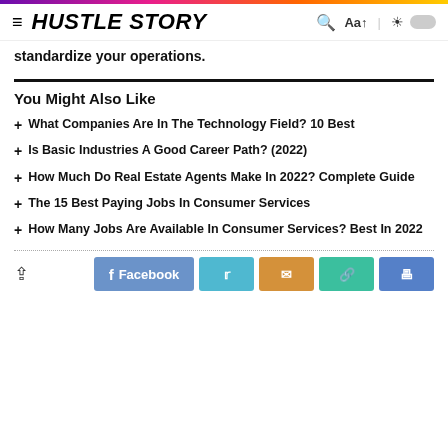HUSTLE STORY
standardize your operations.
You Might Also Like
+ What Companies Are In The Technology Field? 10 Best
+ Is Basic Industries A Good Career Path? (2022)
+ How Much Do Real Estate Agents Make In 2022? Complete Guide
+ The 15 Best Paying Jobs In Consumer Services
+ How Many Jobs Are Available In Consumer Services? Best In 2022